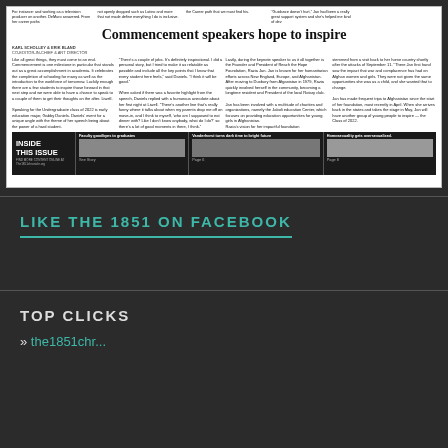[Figure (screenshot): Newspaper front page screenshot showing article 'Commencement speakers hope to inspire' with bylines, body text in multiple columns, and an 'INSIDE THIS ISSUE' strip at bottom with thumbnails for Faculty goodbyes to graduates, Vanderhorst turns dark time to bright future, and Homosexuality gets oversexualized.]
LIKE THE 1851 ON FACEBOOK
TOP CLICKS
» the1851chr...